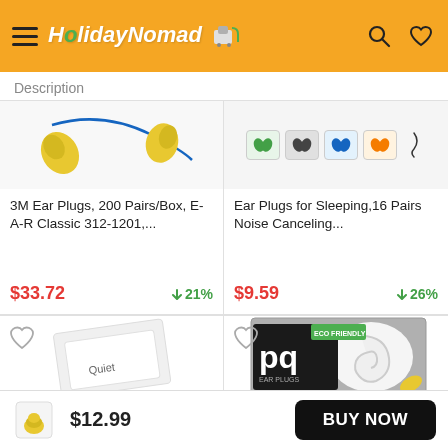HolidayNomad
Description
[Figure (screenshot): 3M Ear Plugs product image - yellow foam ear plugs on blue cord]
3M Ear Plugs, 200 Pairs/Box, E-A-R Classic 312-1201,...
$33.72  ↓21%
[Figure (screenshot): Ear plugs in multiple colors (green, dark, blue, orange) with carrying cord]
Ear Plugs for Sleeping,16 Pairs Noise Canceling...
$9.59  ↓26%
[Figure (screenshot): Quiet ear plug product in white packaging]
[Figure (screenshot): PQ Ear Plugs eco-friendly product packaging]
$12.99
BUY NOW